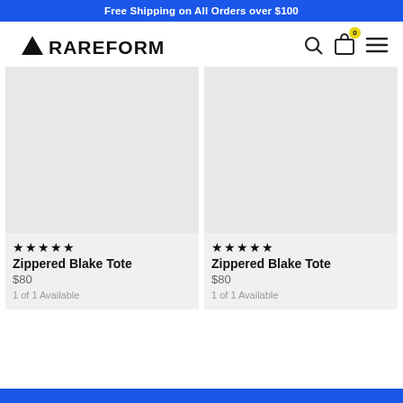Free Shipping on All Orders over $100
[Figure (logo): RAREFORM logo with triangle icon]
Zippered Blake Tote
$80
1 of 1 Available
Zippered Blake Tote
$80
1 of 1 Available